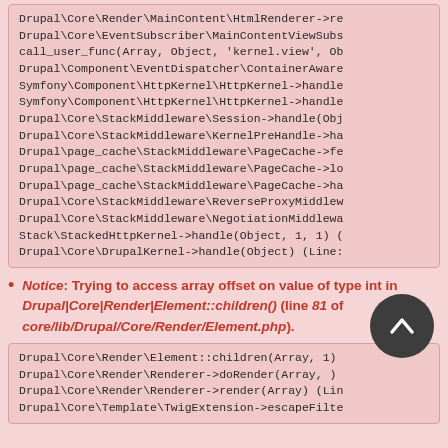[Figure (screenshot): Code block (top) showing a PHP/Drupal stack trace with lines such as Drupal\Core\Render\MainContent\HtmlRenderer->re, Drupal\Core\EventSubscriber\MainContentViewSubs, call_user_func(Array, Object, 'kernel.view', Ob, Drupal\Component\EventDispatcher\ContainerAware, Symfony\Component\HttpKernel\HttpKernel->handle (twice), Drupal\Core\StackMiddleware\Session->handle(Obj, Drupal\Core\StackMiddleware\KernelPreHandle->ha, Drupal\page_cache\StackMiddleware\PageCache->fe, Drupal\page_cache\StackMiddleware\PageCache->lo, Drupal\page_cache\StackMiddleware\PageCache->ha, Drupal\Core\StackMiddleware\ReverseProxyMiddlew, Drupal\Core\StackMiddleware\NegotiationMiddlewa, Stack\StackedHttpKernel->handle(Object, 1, 1) (, Drupal\Core\DrupalKernel->handle(Object) (Line:]
Notice: Trying to access array offset on value of type int in Drupal|Core|Render|Element::children() (line 81 of core/lib/Drupal/Core/Render/Element.php).
[Figure (screenshot): Code block (bottom) showing beginning of a PHP stack trace: Drupal\Core\Render\Element::children(Array, 1), Drupal\Core\Render\Renderer->doRender(Array, ), Drupal\Core\Render\Renderer->render(Array) (Lin, Drupal\Core\Template\TwigExtension->escapeFilte]